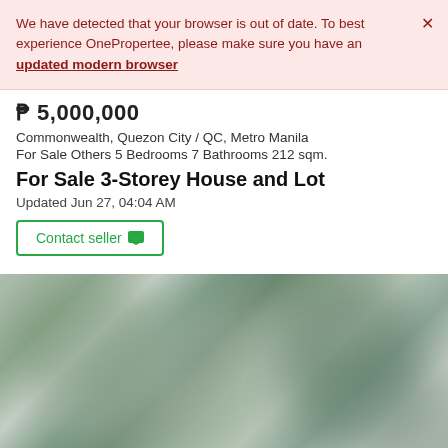We have detected that your browser is out of date. To best experience OnePropertee, please make sure you have an updated modern browser
₱ 5,000,000
Commonwealth, Quezon City / QC, Metro Manila
For Sale Others 5 Bedrooms 7 Bathrooms 212 sqm.
For Sale 3-Storey House and Lot
Updated Jun 27, 04:04 AM
Contact seller
[Figure (photo): Blurry exterior photo of a house with green foliage visible]